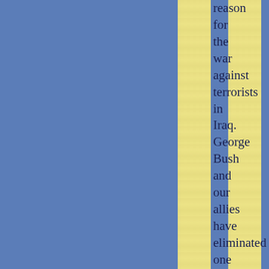reason for the war against terrorists in Iraq. George Bush and our allies have eliminated one of the most evil murderous dictators in history and many of his followers